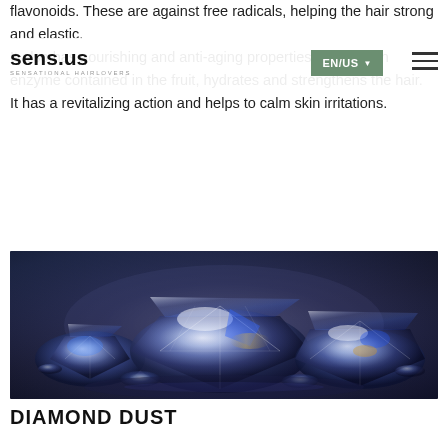sens.us — SENSATIONAL HAIRLOVERS | EN/US
flavonoids. These are against free radicals, helping the hair strong and elastic. It also has nourishing and anti-aging properties. Papain, an enzyme contained in the fruit, hydrates and strengthens the hair. It has a revitalizing action and helps to calm skin irritations.
[Figure (photo): Close-up photograph of multiple large sparkling diamonds on a dark background, arranged in a cluster, showing brilliant crystal facets with blue and white light reflections.]
DIAMOND DUST